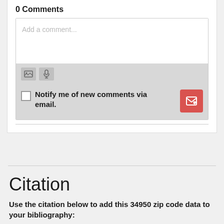0 Comments
[Figure (screenshot): Comment input area with toolbar icons (image and microphone), a notify me checkbox, and a red submit button]
Citation
Use the citation below to add this 34950 zip code data to your bibliography: